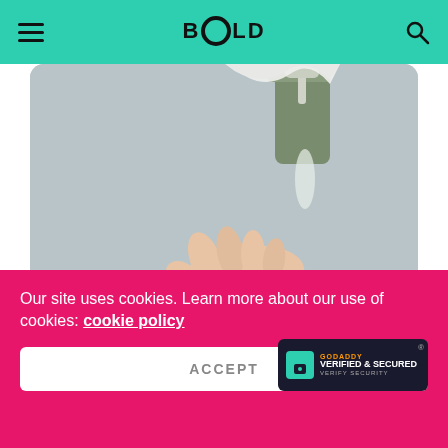BOLD
[Figure (photo): A hand held under a soap/sanitizer dispenser being pumped, against a light grey background, rounded rectangle crop]
WELLNESS
Unlock 1: Get Ready For Office With These 5 COVID Protective Gears
Our site uses cookies. Learn more about our use of cookies: cookie policy
ACCEPT